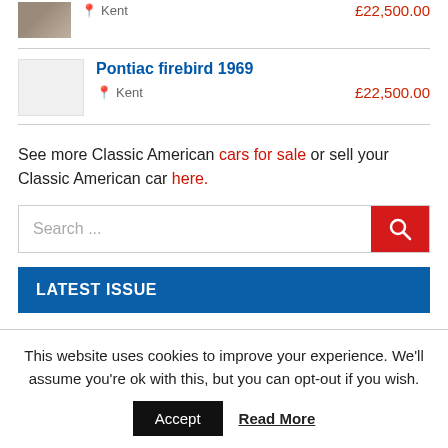Kent   £22,500.00
Pontiac firebird 1969
Kent   £22,500.00
See more Classic American cars for sale or sell your Classic American car here.
[Figure (screenshot): Search input bar with red search button and magnifying glass icon]
LATEST ISSUE
This website uses cookies to improve your experience. We'll assume you're ok with this, but you can opt-out if you wish.
Accept   Read More